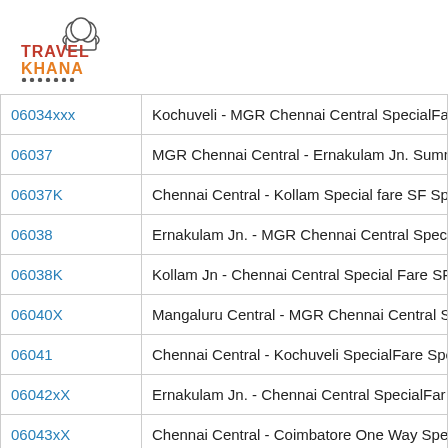[Figure (logo): Travel Khana logo with chef hat icon and dot decoration]
| 06034xxx | Kochuveli - MGR Chennai Central SpecialFar |
| 06037 | MGR Chennai Central - Ernakulam Jn. Summ |
| 06037K | Chennai Central - Kollam Special fare SF Sp |
| 06038 | Ernakulam Jn. - MGR Chennai Central Speci |
| 06038K | Kollam Jn - Chennai Central Special Fare SF |
| 06040X | Mangaluru Central - MGR Chennai Central S |
| 06041 | Chennai Central - Kochuveli SpecialFare Spe |
| 06042xX | Ernakulam Jn. - Chennai Central SpecialFar |
| 06043xX | Chennai Central - Coimbatore One Way Spe |
| 06044xX | Kollam - Chennai Central Sabarimala Specia |